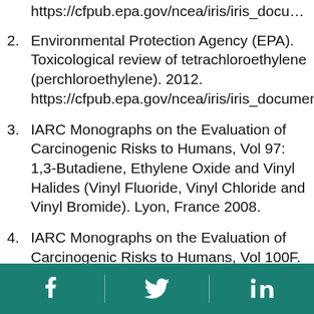https://cfpub.epa.gov/ncea/iris/iris_documents/do
2. Environmental Protection Agency (EPA). Toxicological review of tetrachloroethylene (perchloroethylene). 2012. https://cfpub.epa.gov/ncea/iris/iris_documents/do
3. IARC Monographs on the Evaluation of Carcinogenic Risks to Humans, Vol 97: 1,3-Butadiene, Ethylene Oxide and Vinyl Halides (Vinyl Fluoride, Vinyl Chloride and Vinyl Bromide). Lyon, France 2008.
4. IARC Monographs on the Evaluation of Carcinogenic Risks to Humans, Vol 100F. Chemical Agents and Related Occupations. A Review of Human Carcinogens. Lyon, France 2012.
5. IARC Monographs on the Evaluation of
Social media icons: Facebook, Twitter, LinkedIn